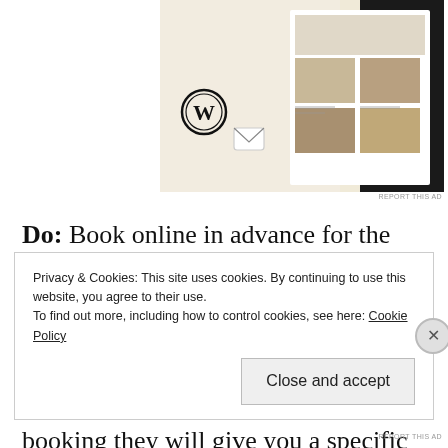[Figure (screenshot): Partial screenshot of a WordPress website showing a food menu page with photos of dishes, and a WordPress logo and email icon visible.]
REPORT THIS AD
Do: Book online in advance for the Sagrada Familia and Parc Güell… Its very easy and you won't have to wait in line for hours. Those places get very crowded and even early in the mornings people wait in lines. With a booking they will give you a specific time and you'll get in without waiting.
Privacy & Cookies: This site uses cookies. By continuing to use this website, you agree to their use.
To find out more, including how to control cookies, see here: Cookie Policy
Close and accept